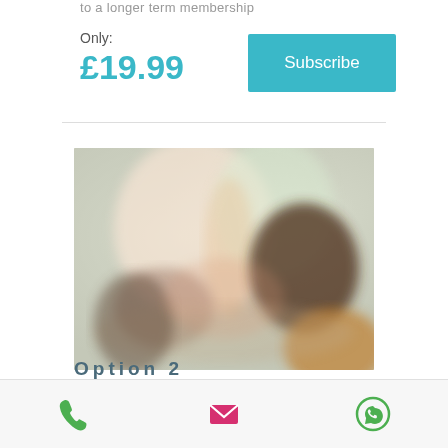to a longer term membership
Only:
£19.99
Subscribe
[Figure (photo): Blurred image of people, possibly a learning or social setting, with warm and cool tones]
Option 2
[Figure (infographic): Footer bar with three contact icons: green phone, red/pink email envelope, and green WhatsApp logo]